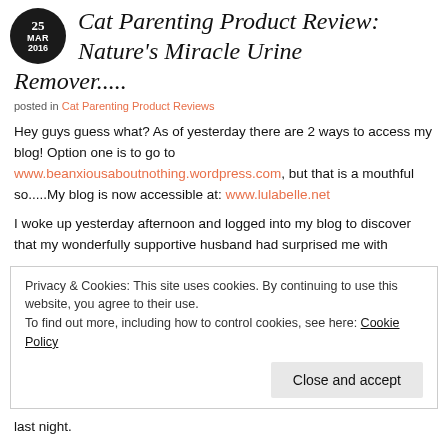Cat Parenting Product Review: Nature's Miracle Urine Remover.....
posted in Cat Parenting Product Reviews
Hey guys guess what? As of yesterday there are 2 ways to access my blog! Option one is to go to www.beanxiousaboutnothing.wordpress.com, but that is a mouthful so.....My blog is now accessible at: www.lulabelle.net
I woke up yesterday afternoon and logged into my blog to discover that my wonderfully supportive husband had surprised me with
Privacy & Cookies: This site uses cookies. By continuing to use this website, you agree to their use. To find out more, including how to control cookies, see here: Cookie Policy
Close and accept
last night.